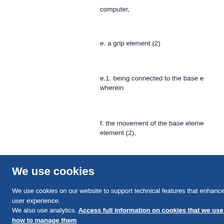computer,
e. a grip element (2)
e.1. being connected to the base e… wherein
f. the movement of the base eleme… element (2),
We use cookies
We use cookies on our website to support technical features that enhance your user experience.
We also use analytics. Access full information on cookies that we use and how to manage them
OK